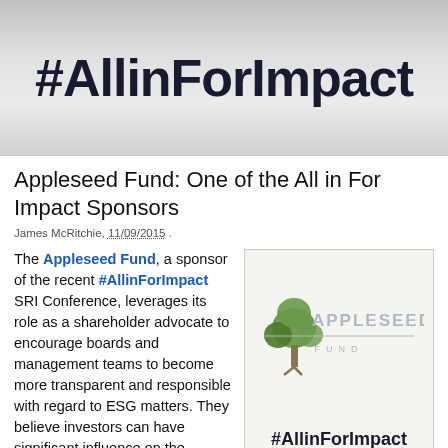[Figure (photo): Banner image with #AllinForImpact hashtag text on a light gray background]
Appleseed Fund: One of the All in For Impact Sponsors
James McRitchie, 11/09/2015 .
The Appleseed Fund, a sponsor of the recent #AllinForImpact SRI Conference, leverages its role as a shareholder advocate to encourage boards and management teams to become more transparent and responsible with regard to ESG matters. They believe investors can have significant influence on the
[Figure (logo): Appleseed Fund logo with tree illustration and #AllinForImpact hashtag below]